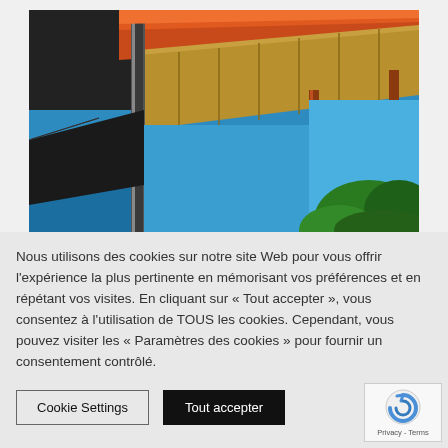[Figure (illustration): Painting of an industrial or construction structure — orange and yellow beams forming a canopy/awning against a deep blue sky, with red-brown vertical supports and green foliage visible at lower right.]
Nous utilisons des cookies sur notre site Web pour vous offrir l'expérience la plus pertinente en mémorisant vos préférences et en répétant vos visites. En cliquant sur « Tout accepter », vous consentez à l'utilisation de TOUS les cookies. Cependant, vous pouvez visiter les « Paramètres des cookies » pour fournir un consentement contrôlé.
Cookie Settings
Tout accepter